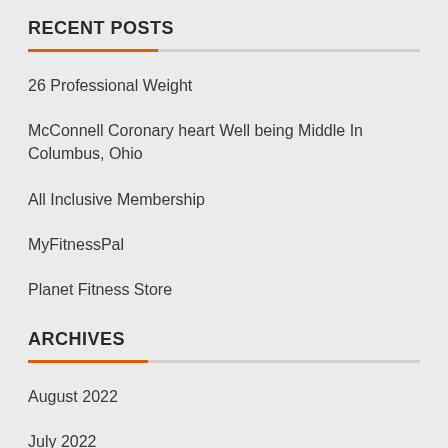RECENT POSTS
26 Professional Weight
McConnell Coronary heart Well being Middle In Columbus, Ohio
All Inclusive Membership
MyFitnessPal
Planet Fitness Store
ARCHIVES
August 2022
July 2022
June 2022